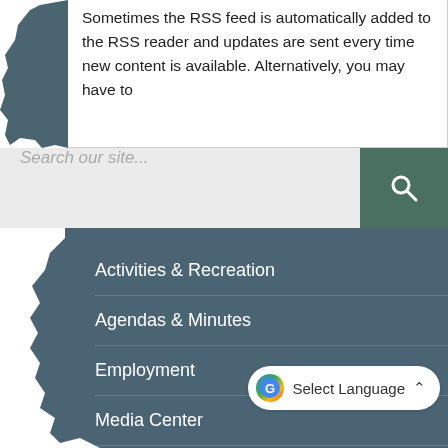Sometimes the RSS feed is automatically added to the RSS reader and updates are sent every time new content is available. Alternatively, you may have to
Search our site...
Activities & Recreation
Agendas & Minutes
Employment
Media Center
Moving to Burlington
Municipal Code
Old Town Museum